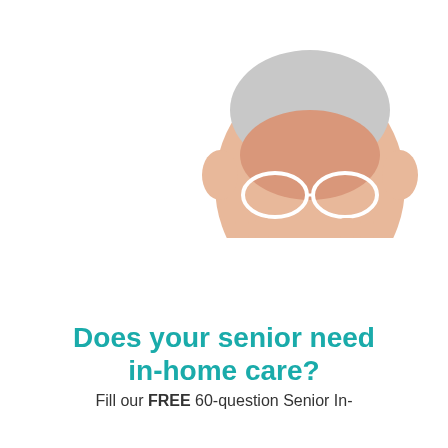[Figure (photo): Photo of a young woman and an elderly woman looking at a smartphone together, outdoors on a bench, with semi-transparent dark overlay. Text overlay reads 'Download Family App & Stay Connected'.]
Download Family App & Stay Connected
[Figure (photo): Partial photo of an elderly person's face (forehead, eyes, gray hair) peeking up from below, with bold teal text overlay reading 'Does your senior need in-home care?' and partial text below reading 'Fill our FREE 60-question Senior In-']
Does your senior need in-home care?
Fill our FREE 60-question Senior In-